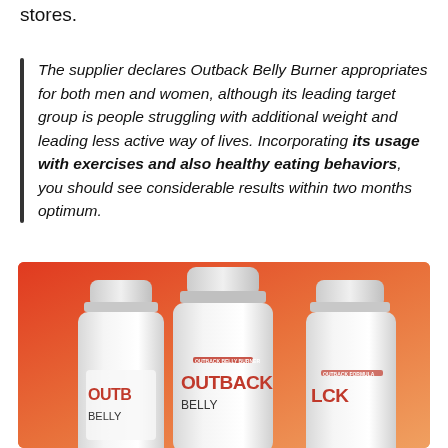stores.
The supplier declares Outback Belly Burner appropriates for both men and women, although its leading target group is people struggling with additional weight and leading less active way of lives. Incorporating its usage with exercises and also healthy eating behaviors, you should see considerable results within two months optimum.
[Figure (photo): Three white supplement bottles labeled 'Outback Belly Burner' arranged together against a red-orange gradient background. The bottles show 'OUTB BELLY', 'OUTBACK BELLY', and 'CK' (partially visible) branding in red/dark text.]